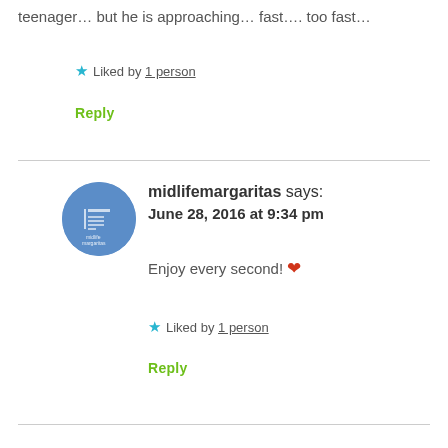teenager… but he is approaching… fast…. too fast…
★ Liked by 1 person
Reply
midlifemargaritas says:
June 28, 2016 at 9:34 pm
Enjoy every second! ❤
★ Liked by 1 person
Reply